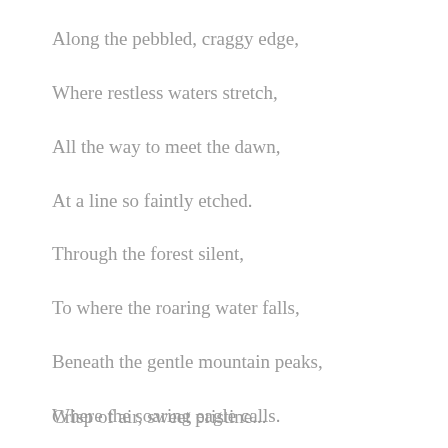Along the pebbled, craggy edge,
Where restless waters stretch,
All the way to meet the dawn,
At a line so faintly etched.
Through the forest silent,
To where the roaring water falls,
Beneath the gentle mountain peaks,
Where the soaring eagle calls.
Crisp of air, sweet pristine...